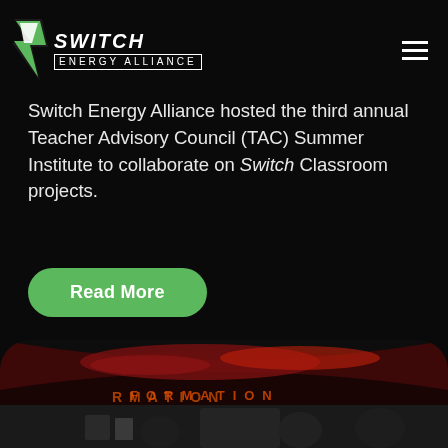[Figure (logo): Switch Energy Alliance logo with green lightning bolt and white text]
Switch Energy Alliance hosted the third annual Teacher Advisory Council (TAC) Summer Institute to collaborate on Switch Classroom projects.
Read More
[Figure (photo): Photo showing a large curved display screen with dark red/orange dramatic imagery and the word FORMATION visible, with people or figures visible below the screen in what appears to be a classroom or presentation setting]